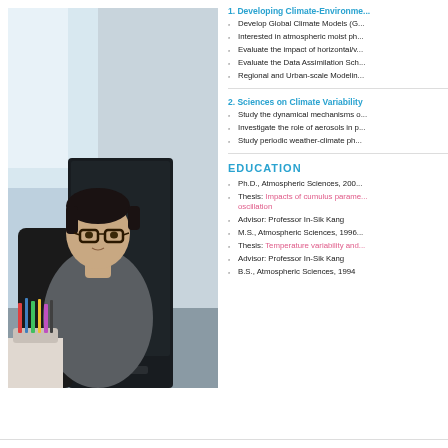[Figure (photo): A man with glasses sitting in front of a computer monitor in an office setting]
1. Developing Climate-Environment Models
Develop Global Climate Models (G...
Interested in atmospheric moist ph...
Evaluate the impact of horizontal/v...
Evaluate the Data Assimilation Sch...
Regional and Urban-scale Modelin...
2. Sciences on Climate Variability
Study the dynamical mechanisms o...
Investigate the role of aerosols in p...
Study periodic weather-climate ph...
EDUCATION
Ph.D., Atmospheric Sciences, 200...
Thesis: Impacts of cumulus parameterization on ... oscillation
Advisor: Professor In-Sik Kang
M.S., Atmospheric Sciences, 1996...
Thesis: Temperature variability and...
Advisor: Professor In-Sik Kang
B.S., Atmospheric Sciences, 1994